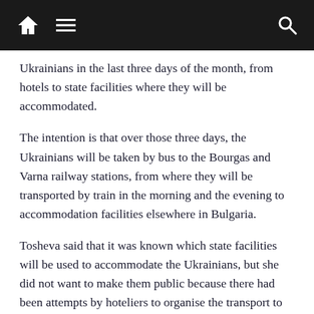Navigation bar with home, menu, and search icons
Ukrainians in the last three days of the month, from hotels to state facilities where they will be accommodated.
The intention is that over those three days, the Ukrainians will be taken by bus to the Bourgas and Varna railway stations, from where they will be transported by train in the morning and the evening to accommodation facilities elsewhere in Bulgaria.
Tosheva said that it was known which state facilities will be used to accommodate the Ukrainians, but she did not want to make them public because there had been attempts by hoteliers to organise the transport to them.
She said that in the past 24 hours, close to 3700 Ukrainians had left Bulgaria.